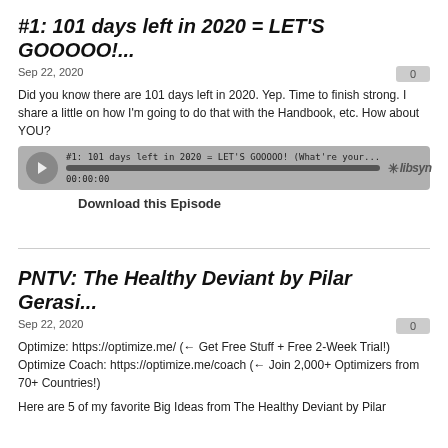#1: 101 days left in 2020 = LET'S GOOOOO!...
Sep 22, 2020
Did you know there are 101 days left in 2020. Yep. Time to finish strong. I share a little on how I'm going to do that with the Handbook, etc. How about YOU?
[Figure (other): Libsyn audio player showing episode '#1: 101 days left in 2020 = LET'S GOOOOO! (What're your...' with progress bar at 00:00:00]
Download this Episode
PNTV: The Healthy Deviant by Pilar Gerasi...
Sep 22, 2020
Optimize: https://optimize.me/ (← Get Free Stuff + Free 2-Week Trial!) Optimize Coach: https://optimize.me/coach (← Join 2,000+ Optimizers from 70+ Countries!)
Here are 5 of my favorite Big Ideas from The Healthy Deviant by Pilar